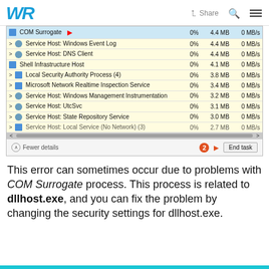WR | Share
[Figure (screenshot): Windows Task Manager screenshot showing a list of processes including COM Surrogate (highlighted in blue with a red arrow), Service Host: Windows Event Log, Service Host: DNS Client, Shell Infrastructure Host, Local Security Authority Process (4), Microsoft Network Realtime Inspection Service, Service Host: Windows Management Instrumentation, Service Host: UtcSvc, Service Host: State Repository Service, Service Host: Local Service (No Network) (3). Each row shows CPU 0%, memory usage, and 0 MB/s disk. At the bottom, a 'Fewer details' link and an 'End task' button with a circled number 2 and red arrow annotation.]
This error can sometimes occur due to problems with COM Surrogate process. This process is related to dllhost.exe, and you can fix the problem by changing the security settings for dllhost.exe.